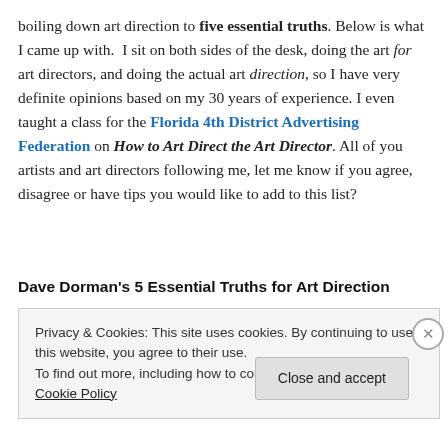boiling down art direction to five essential truths. Below is what I came up with.  I sit on both sides of the desk, doing the art for art directors, and doing the actual art direction, so I have very definite opinions based on my 30 years of experience. I even taught a class for the Florida 4th District Advertising Federation on How to Art Direct the Art Director. All of you artists and art directors following me, let me know if you agree, disagree or have tips you would like to add to this list?
Dave Dorman's 5 Essential Truths for Art Direction
Privacy & Cookies: This site uses cookies. By continuing to use this website, you agree to their use.
To find out more, including how to control cookies, see here: Cookie Policy
Close and accept